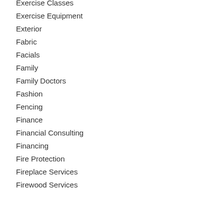Exercise Classes
Exercise Equipment
Exterior
Fabric
Facials
Family
Family Doctors
Fashion
Fencing
Finance
Financial Consulting
Financing
Fire Protection
Fireplace Services
Firewood Services